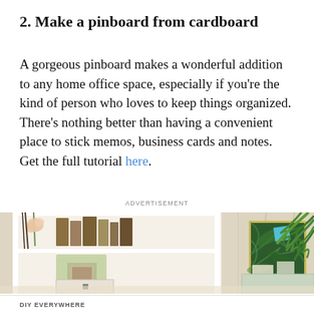2. Make a pinboard from cardboard
A gorgeous pinboard makes a wonderful addition to any home office space, especially if you're the kind of person who loves to keep things organized. There's nothing better than having a convenient place to stick memos, business cards and notes. Get the full tutorial here.
ADVERTISEMENT
[Figure (photo): A decorative pinboard made from cardboard with tropical leaf design, hanging on a beige wall next to a white shelf unit containing books and decorative boxes, and a palm plant in the background, with a light blue/green cushion visible on a sofa.]
DIY EVERYWHERE